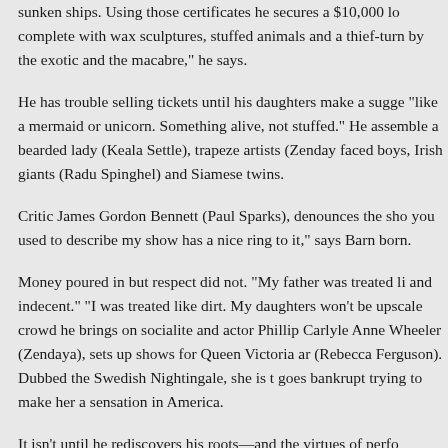sunken ships. Using those certificates he secures a $10,000 lo complete with wax sculptures, stuffed animals and a thief-turn by the exotic and the macabre," he says.
He has trouble selling tickets until his daughters make a sugge "like a mermaid or unicorn. Something alive, not stuffed." He assemble a bearded lady (Keala Settle), trapeze artists (Zenday faced boys, Irish giants (Radu Spinghel) and Siamese twins.
Critic James Gordon Bennett (Paul Sparks), denounces the sho you used to describe my show has a nice ring to it," says Barn born.
Money poured in but respect did not. "My father was treated li and indecent." "I was treated like dirt. My daughters won't be upscale crowd he brings on socialite and actor Phillip Carlyle Anne Wheeler (Zendaya), sets up shows for Queen Victoria ar (Rebecca Ferguson). Dubbed the Swedish Nightingale, she is t goes bankrupt trying to make her a sensation in America.
It isn't until he rediscovers his roots—and the virtues of perfo impression.